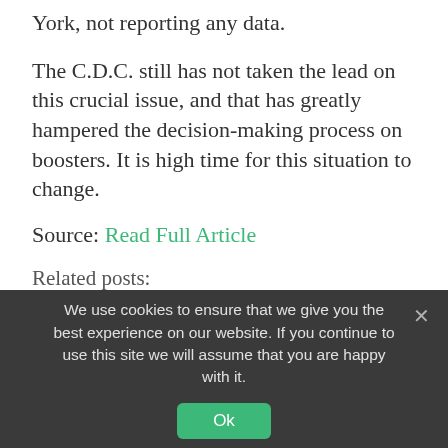York, not reporting any data.
The C.D.C. still has not taken the lead on this crucial issue, and that has greatly hampered the decision-making process on boosters. It is high time for this situation to change.
Source: Read Full Article
Related posts:
'Vicious' Tauranga knife attack left teen needing 300-plus stitches
They're So Hot Right Now – Young African Artists
We use cookies to ensure that we give you the best experience on our website. If you continue to use this site we will assume that you are happy with it.